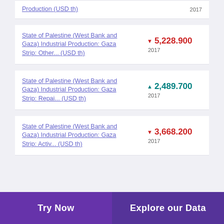Production (USD th) — 2017
State of Palestine (West Bank and Gaza) Industrial Production: Gaza Strip: Other... (USD th) ▼ 5,228.900 2017
State of Palestine (West Bank and Gaza) Industrial Production: Gaza Strip: Repai... (USD th) ▲ 2,489.700 2017
State of Palestine (West Bank and Gaza) Industrial Production: Gaza Strip: Activ... (USD th) ▼ 3,668.200 2017
Try Now   Explore our Data